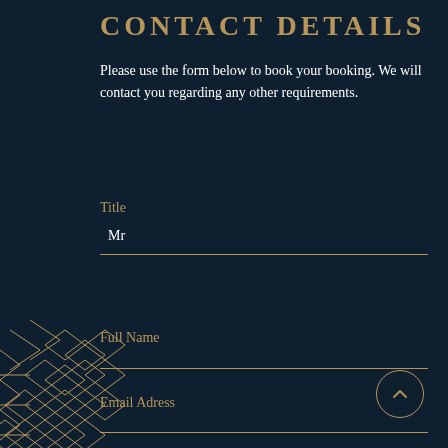CONTACT DETAILS
Please use the form below to book your booking. We will contact you regarding any other requirements.
Title
Mr
Full Name
Email Adress
[Figure (illustration): Art deco geometric decorative pattern in gold lines on dark background, featuring diamond and chevron shapes, positioned on the lower left of the page]
[Figure (other): Circular scroll-up button with an upward chevron arrow in gold on dark background, bottom right corner]